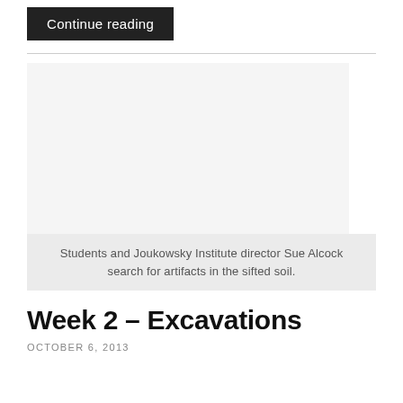Continue reading
[Figure (photo): Students and Joukowsky Institute director Sue Alcock search for artifacts in the sifted soil.]
Students and Joukowsky Institute director Sue Alcock search for artifacts in the sifted soil.
Week 2 – Excavations
OCTOBER 6, 2013